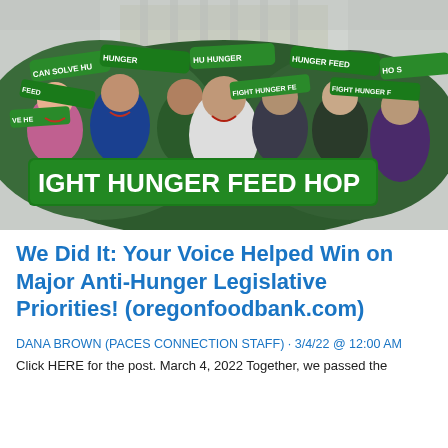[Figure (photo): A crowd of people outside a building holding green scarves and a large banner reading 'FIGHT HUNGER FEED HOPE'. People are smiling and cheering. The scarves have text including 'CAN SOLVE HUNGER', 'HUNGER FEED HOP', 'FIGHT HUNGER FE'.]
We Did It: Your Voice Helped Win on Major Anti-Hunger Legislative Priorities! (oregonfoodbank.com)
DANA BROWN (PACES CONNECTION STAFF) · 3/4/22 @ 12:00 AM
Click HERE for the post. March 4, 2022 Together, we passed the